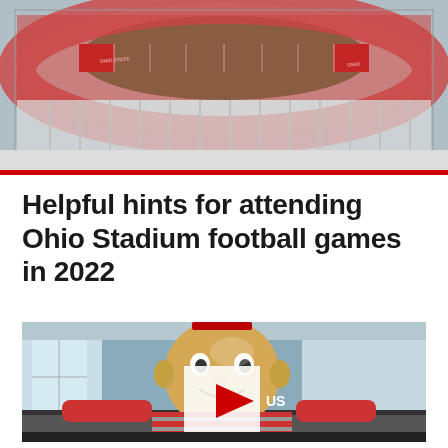[Figure (photo): Aerial view of Ohio Stadium (The Horseshoe) filled with fans during a football game, showing the red and white Ohio State branding on the field]
Helpful hints for attending Ohio Stadium football games in 2022
[Figure (screenshot): Video thumbnail showing Brutus Buckeye mascot (Ohio State's large round-headed mascot wearing red jersey) standing at a table in an indoor venue, with a play button overlay in the center]